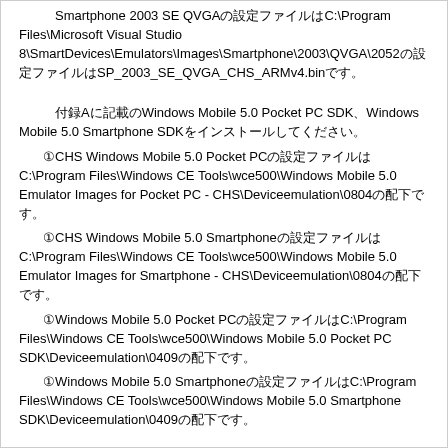Smartphone 2003 SE QVGAの設定ファイルはC:\Program Files\Microsoft Visual Studio 8\SmartDevices\Emulators\Images\Smartphone\2003\QVGA\2052の設定ファイルはSP_2003_SE_QVGA_CHS_ARMv4.binです。
付録Aに記載のWindows Mobile 5.0 Pocket PC SDK、Windows Mobile 5.0 Smartphone SDKをインストールしてください。
①CHS Windows Mobile 5.0 Pocket PCの設定ファイルはC:\Program Files\Windows CE Tools\wce500\Windows Mobile 5.0 Emulator Images for Pocket PC - CHS\Deviceemulation\0804の配下です。
①CHS Windows Mobile 5.0 Smartphoneの設定ファイルはC:\Program Files\Windows CE Tools\wce500\Windows Mobile 5.0 Emulator Images for Smartphone - CHS\Deviceemulation\0804の配下です。
①Windows Mobile 5.0 Pocket PCの設定ファイルはC:\Program Files\Windows CE Tools\wce500\Windows Mobile 5.0 Pocket PC SDK\Deviceemulation\0409の配下です。
①Windows Mobile 5.0 Smartphoneの設定ファイルはC:\Program Files\Windows CE Tools\wce500\Windows Mobile 5.0 Smartphone SDK\Deviceemulation\0409の配下です。